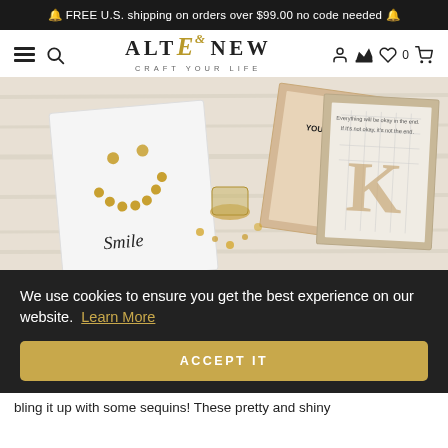🔔 FREE U.S. shipping on orders over $99.00 no code needed 🔔
[Figure (screenshot): Altenew website header with logo 'ALTENEW — CRAFT YOUR LIFE', hamburger menu, search icon, user icon, crown icon, heart with 0, and cart icon]
[Figure (photo): Craft supplies on a white wooden surface including a handmade card with a gold sequin smiley face and 'Smile' text, a 'You & Yours' stamp card, a bottle of gold sequins, and a card with large letter K]
We use cookies to ensure you get the best experience on our website.  Learn More
ACCEPT IT
bling it up with some sequins! These pretty and shiny